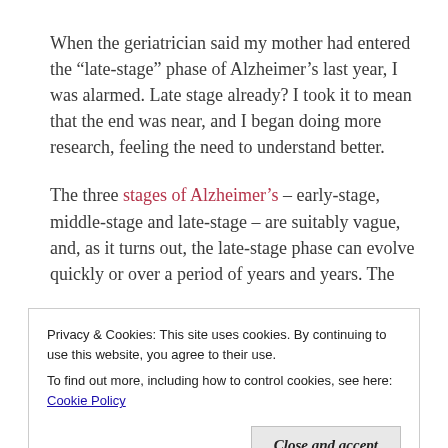When the geriatrician said my mother had entered the “late-stage” phase of Alzheimer’s last year, I was alarmed. Late stage already? I took it to mean that the end was near, and I began doing more research, feeling the need to understand better.
The three stages of Alzheimer’s – early-stage, middle-stage and late-stage – are suitably vague, and, as it turns out, the late-stage phase can evolve quickly or over a period of years and years. The
Privacy & Cookies: This site uses cookies. By continuing to use this website, you agree to their use.
To find out more, including how to control cookies, see here: Cookie Policy
heightened suspicions, mood swings, restlessness